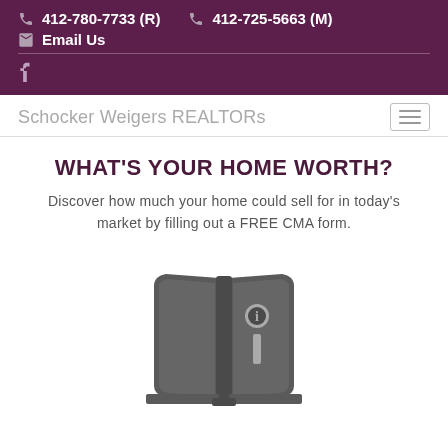412-780-7733 (R)  412-725-5663 (M)  Email Us
Schocker Weigers REALTORs
WHAT'S YOUR HOME WORTH?
Discover how much your home could sell for in today's market by filling out a FREE CMA form.
[Figure (illustration): Open book with letter 'i' information icon, dark gray color]